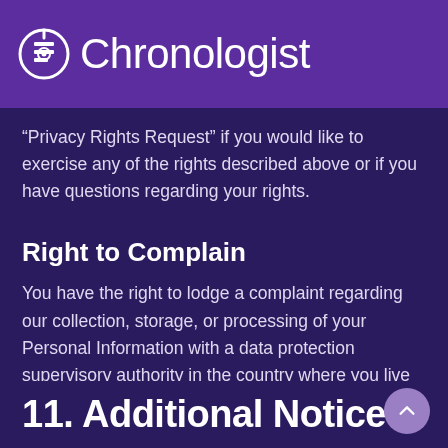Chronologist
“Privacy Rights Request” if you would like to exercise any of the rights described above or if you have questions regarding your rights.
Right to Complain
You have the right to lodge a complaint regarding our collection, storage, or processing of your Personal Information with a data protection supervisory authority in the country where you live or work.
11. Additional Notice